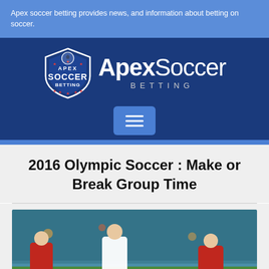Apex soccer betting provides news, and information about betting on soccer.
[Figure (logo): Apex Soccer Betting logo with shield emblem showing soccer ball and text, alongside ApexSoccer Betting brand name in white on dark blue background, with hamburger menu button below]
2016 Olympic Soccer : Make or Break Group Time
[Figure (photo): Soccer players competing on field during a match, players wearing red and white jerseys, numbers 2, 8, and 13 visible]